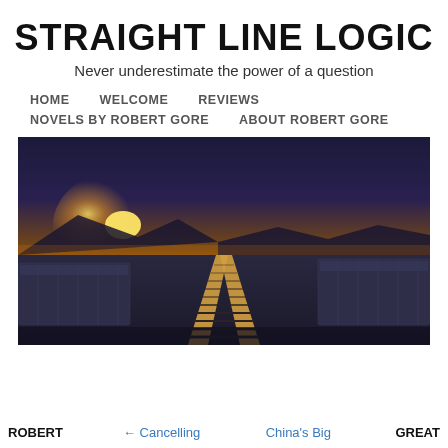STRAIGHT LINE LOGIC
Never underestimate the power of a question
HOME   WELCOME   REVIEWS   NOVELS BY ROBERT GORE   ABOUT ROBERT GORE
[Figure (photo): A freight train on railroad tracks at sunset/dusk, with a golden/orange sky on the horizon and mountains in the background. The perspective shows the train stretching into the distance along straight tracks.]
ROBERT   ← Cancelling   China's Big   GREAT